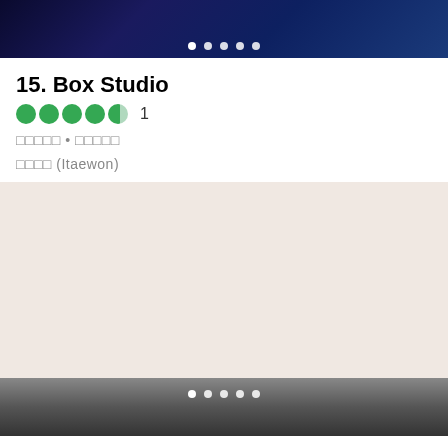[Figure (photo): Dark blue-toned photo at top, with carousel navigation dots visible]
15. Box Studio
★★★★½  1
□□□□□ • □□□□□
□□□□ (Itaewon)
[Figure (photo): Light beige/cream colored image placeholder area for next listing]
16. Master Band Studio (partial)